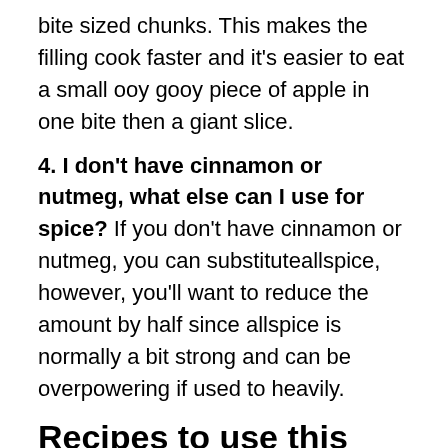bite sized chunks. This makes the filling cook faster and it's easier to eat a small ooy gooy piece of apple in one bite then a giant slice.
4. I don't have cinnamon or nutmeg, what else can I use for spice? If you don't have cinnamon or nutmeg, you can substituteallspice, however, you'll want to reduce the amount by half since allspice is normally a bit strong and can be overpowering if used to heavily.
Recipes to use this Homemade Apple Pie Filling:
CHOCOLATE CHIP APPLE PIE CHEESECAKE